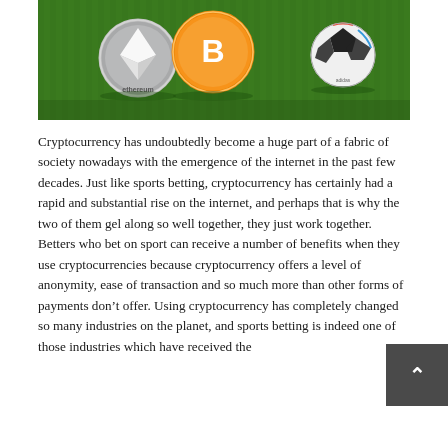[Figure (photo): Photo of Ethereum and Bitcoin cryptocurrency coins placed on green grass next to a soccer/football ball. The Ethereum coin is on the left, the Bitcoin coin in the middle, and a colorful soccer ball on the right.]
Cryptocurrency has undoubtedly become a huge part of a fabric of society nowadays with the emergence of the internet in the past few decades. Just like sports betting, cryptocurrency has certainly had a rapid and substantial rise on the internet, and perhaps that is why the two of them gel along so well together, they just work together. Betters who bet on sport can receive a number of benefits when they use cryptocurrencies because cryptocurrency offers a level of anonymity, ease of transaction and so much more than other forms of payments don't offer. Using cryptocurrency has completely changed so many industries on the planet, and sports betting is indeed one of those industries which have received the